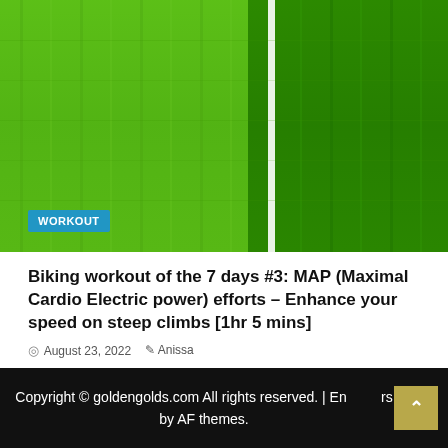[Figure (photo): Aerial view of green artificial turf/grass field with a white line dividing two shades of green, with a blue WORKOUT badge overlay in bottom-left]
Biking workout of the 7 days #3: MAP (Maximal Cardio Electric power) efforts – Enhance your speed on steep climbs [1hr 5 mins]
August 23, 2022   Anissa
Copyright © goldengolds.com All rights reserved. | En... rs by AF themes.